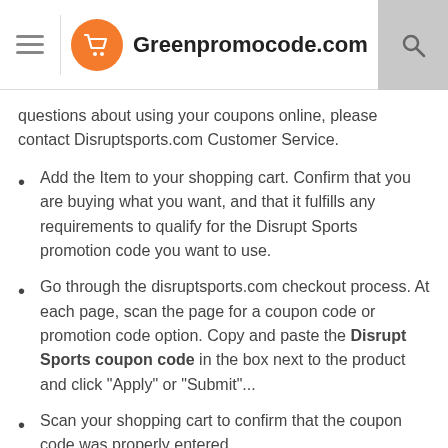Greenpromocode.com
questions about using your coupons online, please contact Disruptsports.com Customer Service.
Add the Item to your shopping cart. Confirm that you are buying what you want, and that it fulfills any requirements to qualify for the Disrupt Sports promotion code you want to use.
Go through the disruptsports.com checkout process. At each page, scan the page for a coupon code or promotion code option. Copy and paste the Disrupt Sports coupon code in the box next to the product and click "Apply" or "Submit"...
Scan your shopping cart to confirm that the coupon code was properly entered and is reflected in your total price. Th...